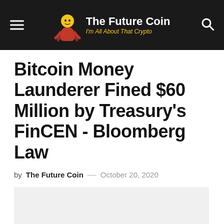The Future Coin — I'm All About That Crypto
Bitcoin Money Launderer Fined $60 Million by Treasury's FinCEN - Bloomberg Law
by The Future Coin — October 20, 2020
[Figure (photo): Light gray placeholder image area below article byline]